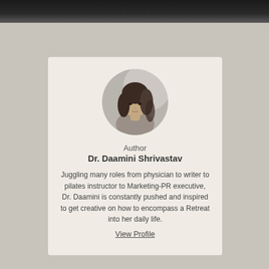[Figure (photo): Circular profile photo of Dr. Daamini Shrivastav, a woman with medium-length dark hair]
Author
Dr. Daamini Shrivastav
Juggling many roles from physician to writer to pilates instructor to Marketing-PR executive, Dr. Daamini is constantly pushed and inspired to get creative on how to encompass a Retreat into her daily life.
View Profile